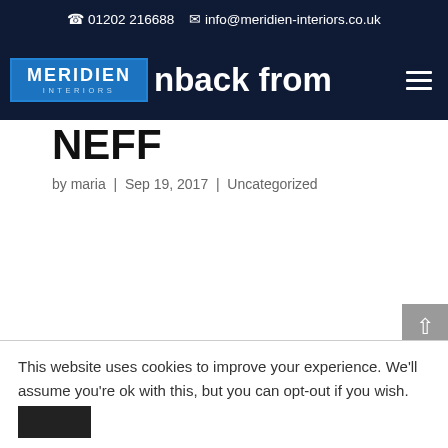☎ 01202 216688  ✉ info@meridien-interiors.co.uk
[Figure (logo): Meridien Interiors logo - blue box with white text MERIDIEN INTERIORS]
...nback from NEFF
by maria | Sep 19, 2017 | Uncategorized
This website uses cookies to improve your experience. We'll assume you're ok with this, but you can opt-out if you wish.